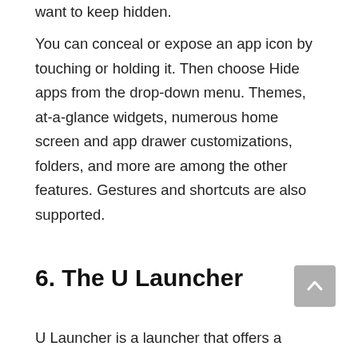want to keep hidden.
You can conceal or expose an app icon by touching or holding it. Then choose Hide apps from the drop-down menu. Themes, at-a-glance widgets, numerous home screen and app drawer customizations, folders, and more are among the other features. Gestures and shortcuts are also supported.
6. The U Launcher
U Launcher is a launcher that offers a